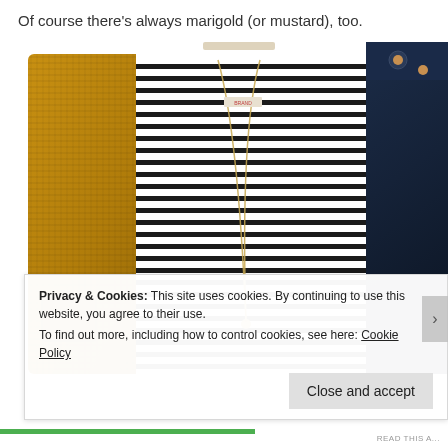Of course there's always marigold (or mustard), too.
[Figure (photo): Fashion outfit flat lay showing a mustard/marigold knit cardigan on the left, a white and navy blue horizontal-striped short sleeve tee with a long gold necklace in the center, and dark navy skinny jeans on the right.]
Privacy & Cookies: This site uses cookies. By continuing to use this website, you agree to their use.
To find out more, including how to control cookies, see here: Cookie Policy
Close and accept